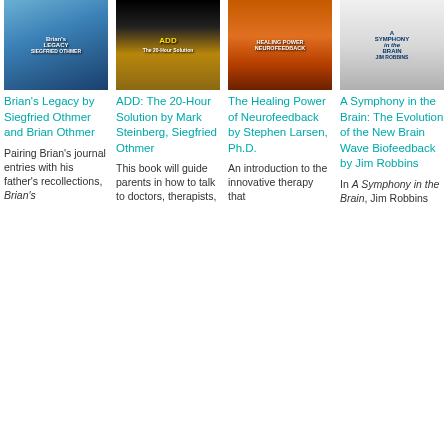[Figure (photo): Book cover: Brian's Legacy by Siegfried Othmer and Brian Othmer]
[Figure (photo): Book cover: ADD: The 20-Hour Solution by Mark Steinberg, Siegfried Othmer]
[Figure (photo): Book cover: The Healing Power of Neurofeedback by Stephen Larsen, Ph.D.]
[Figure (photo): Book cover: A Symphony in the Brain by Jim Robbins]
Brian's Legacy by Siegfried Othmer and Brian Othmer
ADD: The 20-Hour Solution by Mark Steinberg, Siegfried Othmer
The Healing Power of Neurofeedback by Stephen Larsen, Ph.D.
A Symphony in the Brain: The Evolution of the New Brain Wave Biofeedback by Jim Robbins
Pairing Brian's journal entries with his father's recollections, Brian's
This book will guide parents in how to talk to doctors, therapists,
An introduction to the innovative therapy that
In A Symphony in the Brain, Jim Robbins